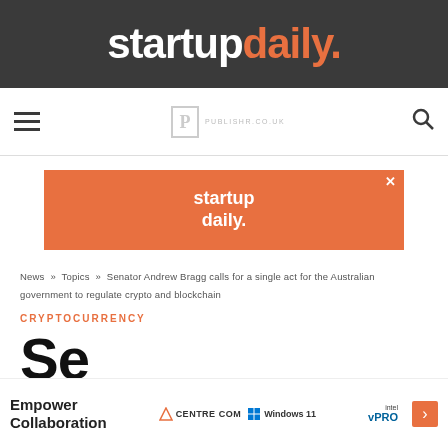startupdaily.
[Figure (logo): Powered by Publishr logo with hamburger menu and search icon nav bar]
[Figure (infographic): Startup daily orange advertisement banner]
News » Topics » Senator Andrew Bragg calls for a single act for the Australian government to regulate crypto and blockchain
CRYPTOCURRENCY
Se
[Figure (infographic): Empower Collaboration - Centre Com, Windows 11, Intel vPRO advertisement banner]